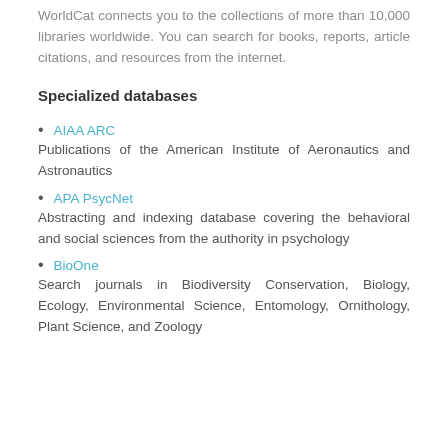WorldCat connects you to the collections of more than 10,000 libraries worldwide. You can search for books, reports, article citations, and resources from the internet.
Specialized databases
AIAA ARC
Publications of the American Institute of Aeronautics and Astronautics
APA PsycNet
Abstracting and indexing database covering the behavioral and social sciences from the authority in psychology
BioOne
Search journals in Biodiversity Conservation, Biology, Ecology, Environmental Science, Entomology, Ornithology, Plant Science, and Zoology